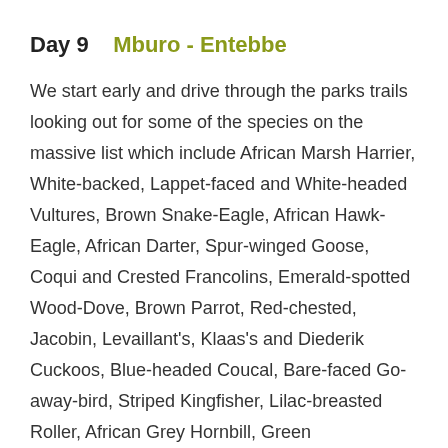Day 9    Mburo - Entebbe
We start early and drive through the parks trails looking out for some of the species on the massive list which include African Marsh Harrier, White-backed, Lappet-faced and White-headed Vultures, Brown Snake-Eagle, African Hawk-Eagle, African Darter, Spur-winged Goose, Coqui and Crested Francolins, Emerald-spotted Wood-Dove, Brown Parrot, Red-chested, Jacobin, Levaillant's, Klaas's and Diederik Cuckoos, Blue-headed Coucal, Bare-faced Go-away-bird, Striped Kingfisher, Lilac-breasted Roller, African Grey Hornbill, Green Woodhoopoe, Common Scimitarbill, Blue-naped and Speckled Mousebirds, Spot-flanked Barbet, Nubian and Bearded Woodpeckers, White-browed Scrub-